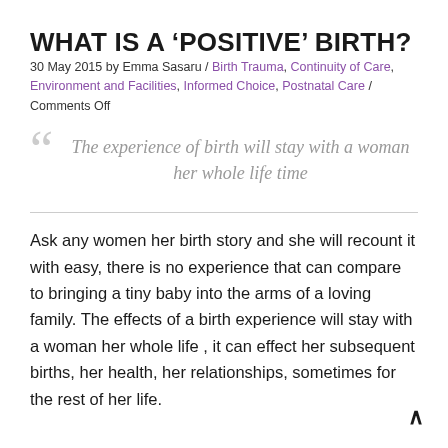WHAT IS A 'POSITIVE' BIRTH?
30 May 2015 by Emma Sasaru / Birth Trauma, Continuity of Care, Environment and Facilities, Informed Choice, Postnatal Care / Comments Off
The experience of birth will stay with a woman her whole life time
Ask any women her birth story and she will recount it with easy, there is no experience that can compare to bringing a tiny baby into the arms of a loving family. The effects of a birth experience will stay with a woman her whole life , it can effect her subsequent births, her health, her relationships, sometimes for the rest of her life.